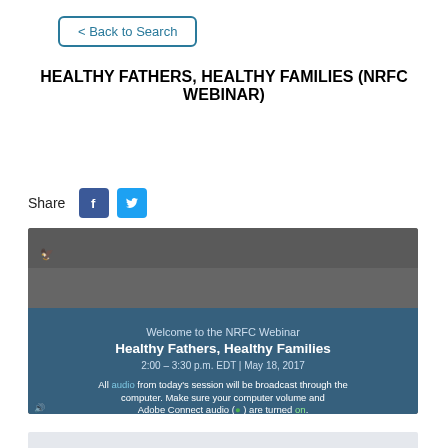< Back to Search
HEALTHY FATHERS, HEALTHY FAMILIES (NRFC WEBINAR)
Share
[Figure (screenshot): Webinar slide showing 'Welcome to the NRFC Webinar Healthy Fathers, Healthy Families 2:00 – 3:30 p.m. EDT | May 18, 2017' with text about audio broadcast instructions for Adobe Connect, overlaid on a photo of a man with a child.]
Year Published: 2017